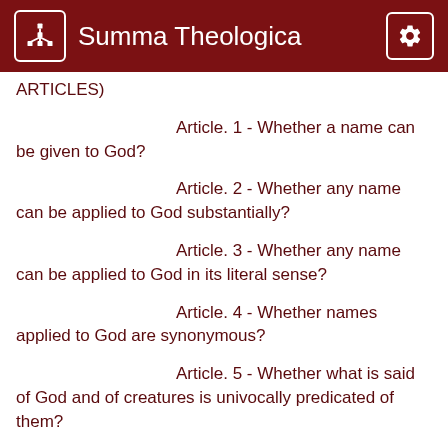Summa Theologica
ARTICLES)
Article. 1 - Whether a name can be given to God?
Article. 2 - Whether any name can be applied to God substantially?
Article. 3 - Whether any name can be applied to God in its literal sense?
Article. 4 - Whether names applied to God are synonymous?
Article. 5 - Whether what is said of God and of creatures is univocally predicated of them?
Article. 6 - Whether names predicated of God are predicated primarily of creatures?